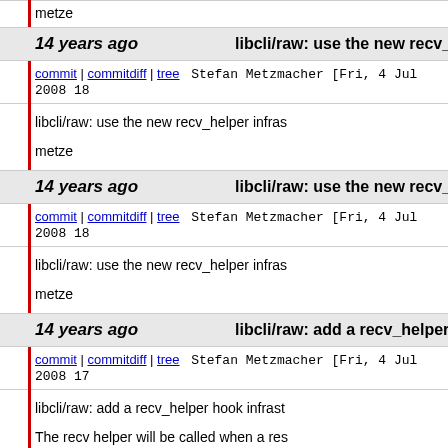metze
14 years ago   libcli/raw: use the new recv_helper inf
commit | commitdiff | tree   Stefan Metzmacher [Fri, 4 Jul 2008 18
libcli/raw: use the new recv_helper infras
metze
14 years ago   libcli/raw: use the new recv_helper inf
commit | commitdiff | tree   Stefan Metzmacher [Fri, 4 Jul 2008 18
libcli/raw: use the new recv_helper infras
metze
14 years ago   libcli/raw: add a recv_helper hook infr
commit | commitdiff | tree   Stefan Metzmacher [Fri, 4 Jul 2008 17
libcli/raw: add a recv_helper hook infrast
The recv helper will be called when a res